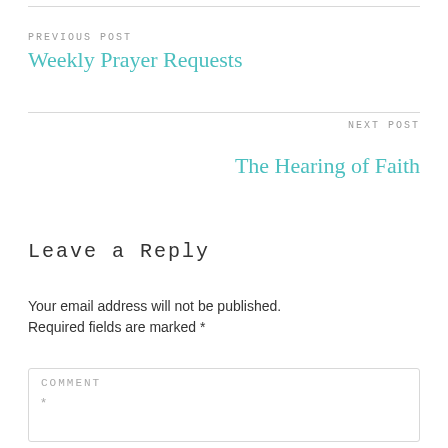PREVIOUS POST
Weekly Prayer Requests
NEXT POST
The Hearing of Faith
Leave a Reply
Your email address will not be published. Required fields are marked *
COMMENT *